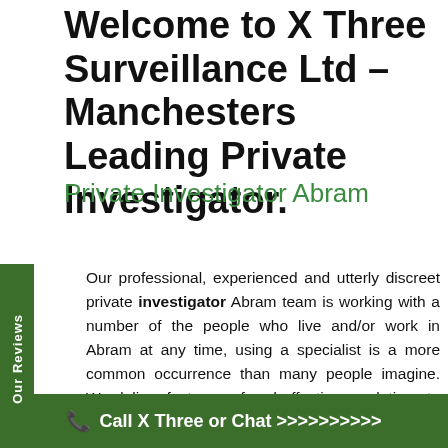Welcome to X Three Surveillance Ltd – Manchesters Leading Private Investigator.
Private Investigator Abram
Our professional, experienced and utterly discreet private investigator Abram team is working with a number of the people who live and/or work in Abram at any time, using a specialist is a more common occurrence than many people imagine. We deliver facts, proof and effective resolutions to sometimes legal but very often contentious matters. We'd be pleased to add
Call X Three or Chat >>>>>>>>>>